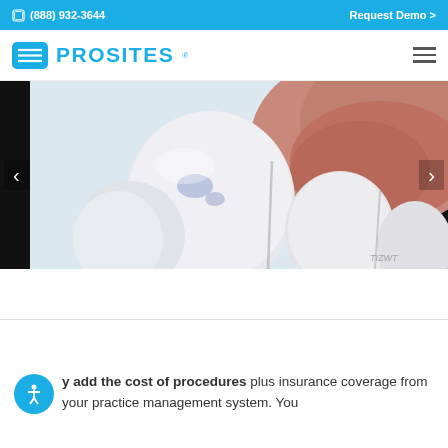(888) 932-3644    Request Demo >
[Figure (logo): ProSites logo with blue icon and blue text PROSITES, and hamburger menu icon on the right]
[Figure (illustration): Close-up dental illustration showing white tooth crowns with blue markings and pink gum/tongue tissue, with left and right navigation arrows on black background]
y add the cost of procedures plus insurance coverage from your practice management system. You